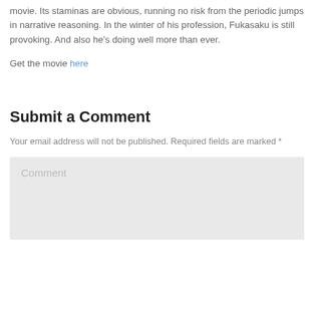movie. Its staminas are obvious, running no risk from the periodic jumps in narrative reasoning. In the winter of his profession, Fukasaku is still provoking. And also he's doing well more than ever.
Get the movie here
Submit a Comment
Your email address will not be published. Required fields are marked *
Comment